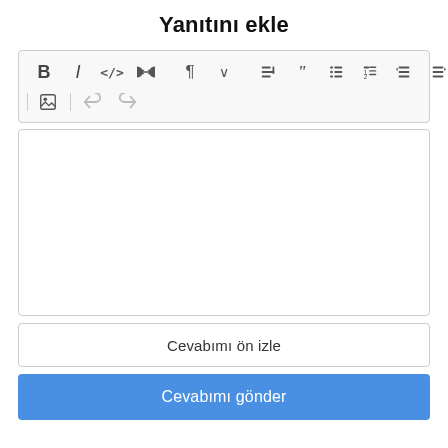Yanıtını ekle
[Figure (screenshot): Rich text editor toolbar with formatting buttons: Bold (B), Italic (I), Code (</>), Link (chain icon), Paragraph style with dropdown, Code block, Quote, Unordered list, Ordered list, Indent, Outdent, Image, Undo, Redo]
[Figure (screenshot): Empty text editor content area with white background and border]
Cevabımı ön izle
Cevabımı gönder